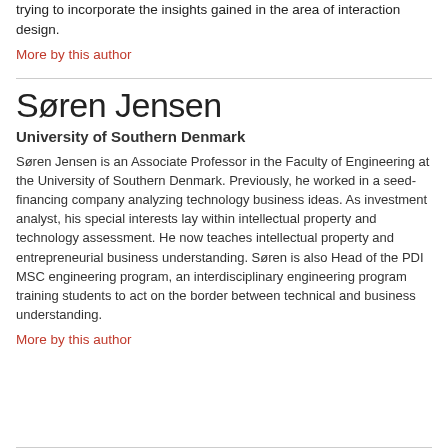entrepreneurship and business development strategies while he is trying to incorporate the insights gained in the area of interaction design.
More by this author
Søren Jensen
University of Southern Denmark
Søren Jensen is an Associate Professor in the Faculty of Engineering at the University of Southern Denmark. Previously, he worked in a seed-financing company analyzing technology business ideas. As investment analyst, his special interests lay within intellectual property and technology assessment. He now teaches intellectual property and entrepreneurial business understanding. Søren is also Head of the PDI MSC engineering program, an interdisciplinary engineering program training students to act on the border between technical and business understanding.
More by this author